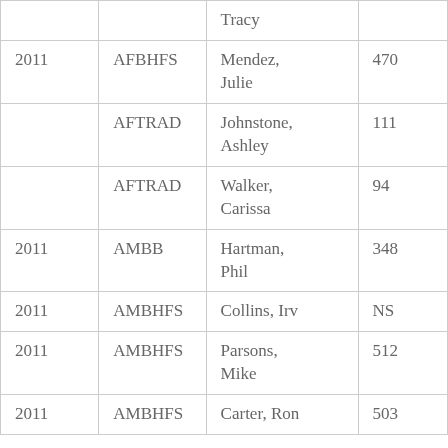|  |  | Tracy |  |
| 2011 | AFBHFS | Mendez, Julie | 470 |
|  | AFTRAD | Johnstone, Ashley | 111 |
|  | AFTRAD | Walker, Carissa | 94 |
| 2011 | AMBB | Hartman, Phil | 348 |
| 2011 | AMBHFS | Collins, Irv | NS |
| 2011 | AMBHFS | Parsons, Mike | 512 |
| 2011 | AMBHFS | Carter, Ron | 503 |